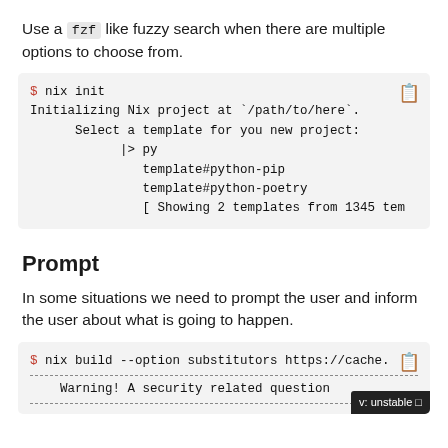Use a fzf like fuzzy search when there are multiple options to choose from.
[Figure (screenshot): Terminal code block showing: $ nix init
Initializing Nix project at `/path/to/here`.
      Select a template for you new project:
            |> py
               template#python-pip
               template#python-poetry
               [ Showing 2 templates from 1345 tem]
Prompt
In some situations we need to prompt the user and inform the user about what is going to happen.
[Figure (screenshot): Terminal code block showing: $ nix build --option substitutors https://cache.
-------------------------------------------...
    Warning! A security related question  [v: unstable]
-------------------------------------------...]